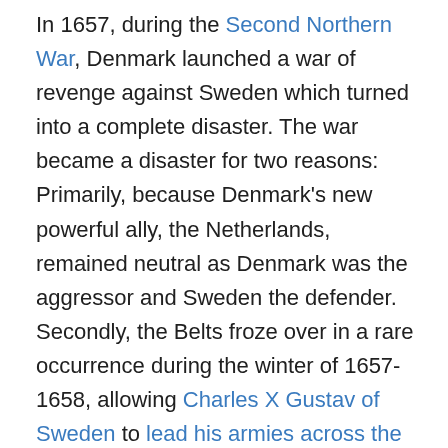In 1657, during the Second Northern War, Denmark launched a war of revenge against Sweden which turned into a complete disaster. The war became a disaster for two reasons: Primarily, because Denmark's new powerful ally, the Netherlands, remained neutral as Denmark was the aggressor and Sweden the defender. Secondly, the Belts froze over in a rare occurrence during the winter of 1657-1658, allowing Charles X Gustav of Sweden to lead his armies across the ice to invade Zealand. In the Treaty of Roskilde, Denmark-Norway capitulated and in panick gave up all of Eastern Denmark in addition to the counties of Bahusia and Trøndelag in Norway. Holstein-Gottorp was also tied to Sweden, providing a gateway for future invasions from the south. But the Second Northern War was not yet over. Three months after the peace treaty was signed, Charles X Gustav of Sweden held a council of war